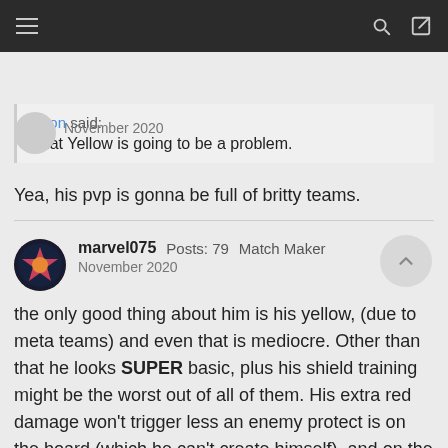Navigation bar with menu, search, and login icons
November 2020
Anon said:
That Yellow is going to be a problem.
Yea, his pvp is gonna be full of britty teams.
marvel075  Posts: 79  Match Maker
November 2020
the only good thing about him is his yellow, (due to meta teams) and even that is mediocre. Other than that he looks SUPER basic, plus his shield training might be the worst out of all of them. His extra red damage won't trigger less an enemy protect is on the board (which he can't create himself), and on the day